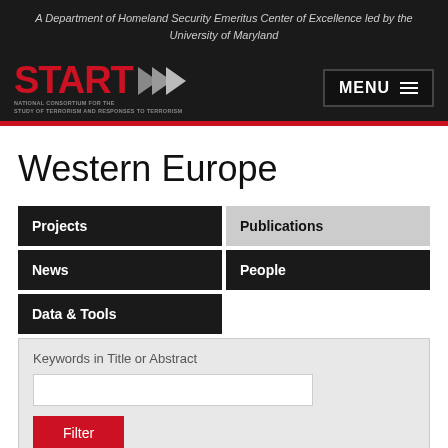A Department of Homeland Security Emeritus Center of Excellence led by the University of Maryland
[Figure (logo): START National Consortium for the Study of Terrorism and Responses to Terrorism logo with red START text and grey arrows]
Western Europe
Projects
Publications
News
People
Data & Tools
Keywords in Title or Abstract
Filter